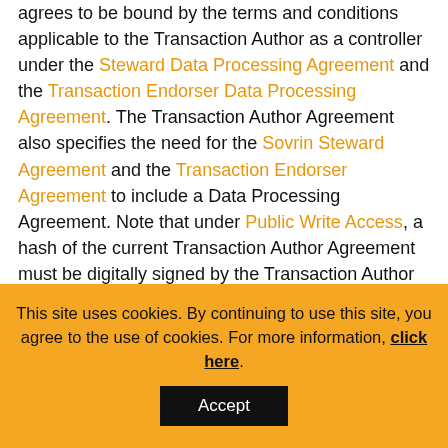agrees to be bound by the terms and conditions applicable to the Transaction Author as a controller under the Steward Data Processing Agreement and the Transaction Endorser Data Processing Agreement. The Transaction Author Agreement also specifies the need for the Sovrin Steward Agreement and the Transaction Endorser Agreement to include a Data Processing Agreement. Note that under Public Write Access, a hash of the current Transaction Author Agreement must be digitally signed by the Transaction Author for every Transaction. Thus the Sovrin Ledger itself is the authoritative record of all Transaction Author Agreement signatures.
This site uses cookies. By continuing to use this site, you agree to the use of cookies. For more information, click here.